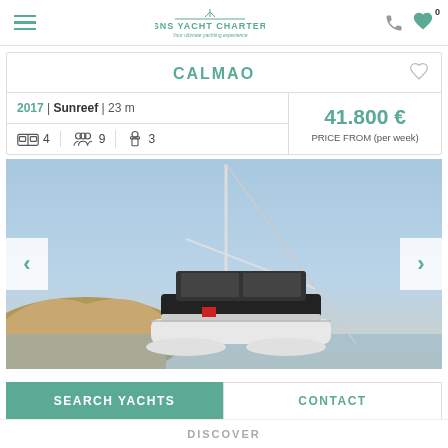SNS Yacht Charter — Your ultimate yachting experience
CALMAO
2017 | Sunreef | 23 m
4 cabins | 9 guests | 3 crew
41.800 € PRICE FROM (per week)
[Figure (photo): A large white sailing catamaran (Sunreef 23m) named Calmao moored near a rocky coastline under a clear blue sky, viewed from the front/side. A tall mast is prominent. Navigation arrows on left and right sides.]
SEARCH YACHTS
CONTACT
DISCOVER